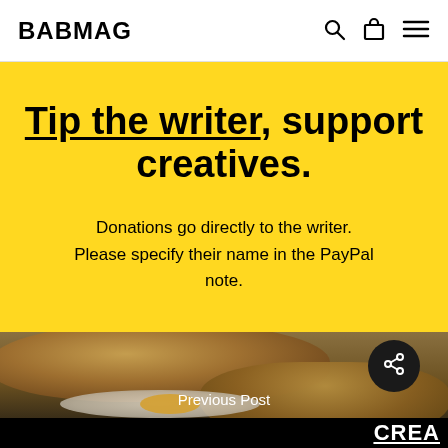BABMAG
Tip the writer, support creatives.
Donations go directly to the writer. Please specify their name in the PayPal note.
[Figure (photo): Photo of flatbread with dipping sauce on a plate, dark background]
Previous Post
CREA